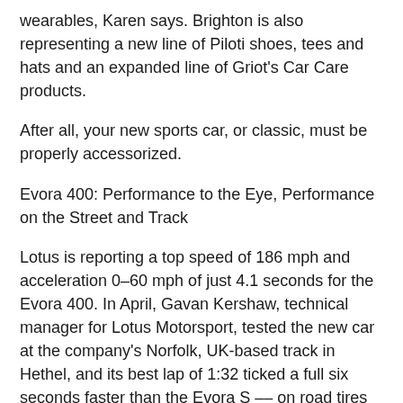wearables, Karen says. Brighton is also representing a new line of Piloti shoes, tees and hats and an expanded line of Griot's Car Care products.
After all, your new sports car, or classic, must be properly accessorized.
Evora 400: Performance to the Eye, Performance on the Street and Track
Lotus is reporting a top speed of 186 mph and acceleration 0–60 mph of just 4.1 seconds for the Evora 400. In April, Gavan Kershaw, technical manager for Lotus Motorsport, tested the new car at the company's Norfolk, UK-based track in Hethel, and its best lap of 1:32 ticked a full six seconds faster than the Evora S -- on road tires and with standard road suspension.
The car's supercharged and charge-cooled mid-mounted 3.5-liter V-6 engine outputs 400 horsepower and 302.4 ft/lbs of torque between 3,500 to 6,500 rpm.